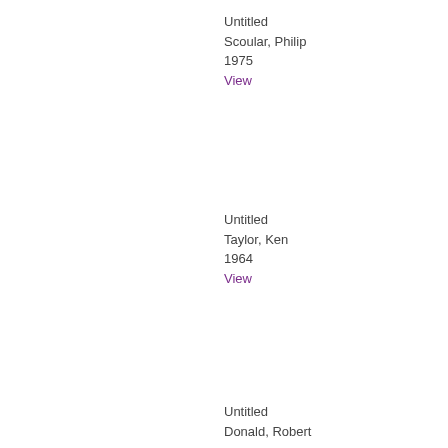Untitled
Scoular, Philip
1975
View
Untitled
Taylor, Ken
1964
View
Untitled
Donald, Robert